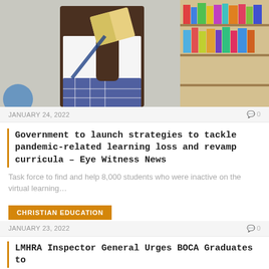[Figure (photo): A student in school uniform (white shirt, plaid skirt) reading a book next to library shelves filled with colorful books]
JANUARY 24, 2022    0
Government to launch strategies to tackle pandemic-related learning loss and revamp curricula – Eye Witness News
Task force to find and help 8,000 students who were inactive on the virtual learning...
CHRISTIAN EDUCATION
JANUARY 23, 2022    0
LMHRA Inspector General Urges BOCA Graduates to